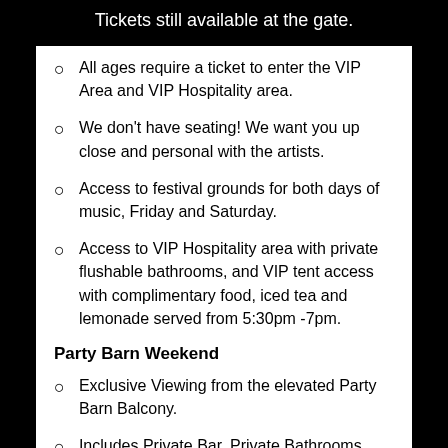Tickets still available at the gate.
All ages require a ticket to enter the VIP Area and VIP Hospitality area.
We don't have seating! We want you up close and personal with the artists.
Access to festival grounds for both days of music, Friday and Saturday.
Access to VIP Hospitality area with private flushable bathrooms, and VIP tent access with complimentary food, iced tea and lemonade served from 5:30pm -7pm.
Party Barn Weekend
Exclusive Viewing from the elevated Party Barn Balcony.
Includes Private Bar, Private Bathrooms with